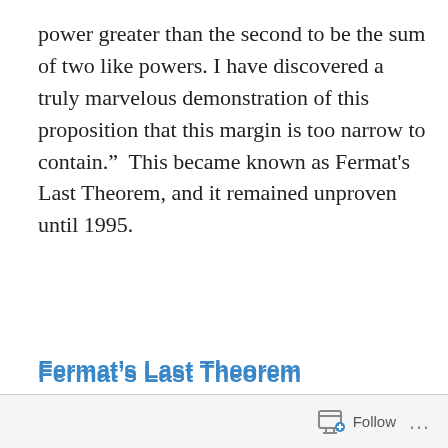power greater than the second to be the sum of two like powers. I have discovered a truly marvelous demonstration of this proposition that this margin is too narrow to contain.”  This became known as Fermat's Last Theorem, and it remained unproven until 1995.
Fermat’s Last Theorem
There once was a mathematician
Who conjectured a famous proposition
But the margin was too thin
Follow ...